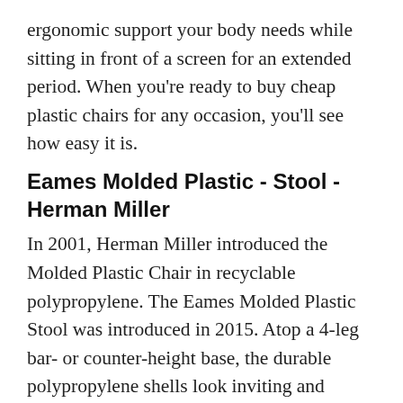ergonomic support your body needs while sitting in front of a screen for an extended period. When you're ready to buy cheap plastic chairs for any occasion, you'll see how easy it is.
Eames Molded Plastic - Stool - Herman Miller
In 2001, Herman Miller introduced the Molded Plastic Chair in recyclable polypropylene. The Eames Molded Plastic Stool was introduced in 2015. Atop a 4-leg bar- or counter-height base, the durable polypropylene shells look inviting and stylish everywhere Eames Molded Plastic Stools are used, from cafés and bistros to breakfast nooks and break.
Air Cooler Mould Manufacturers, Wholesale Chair Moulds Factory
As a China air cooler mould manufacturers and chair moulds factory,Taizhou Huangyan Mengsheng Plastic